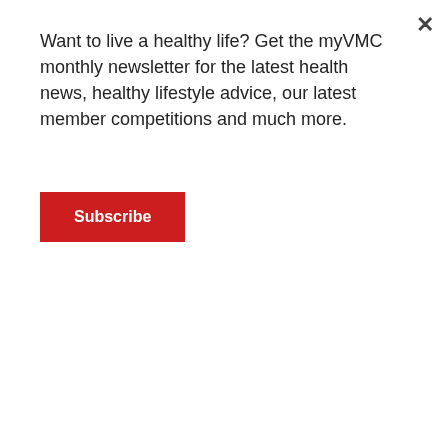Want to live a healthy life? Get the myVMC monthly newsletter for the latest health news, healthy lifestyle advice, our latest member competitions and much more.
Subscribe
Job Title:    Preventive Cardiologist
Name:    A/Prof Jeremy Hammond
Institution:    Melbourne Hypertension Clinic, VIC
Job Title:    Consultant Physician
Name:    Dr Ibrahim Hanna
Institution:    Specialist Medical Centre, NSW
Name:    Mr Laurence Harewood